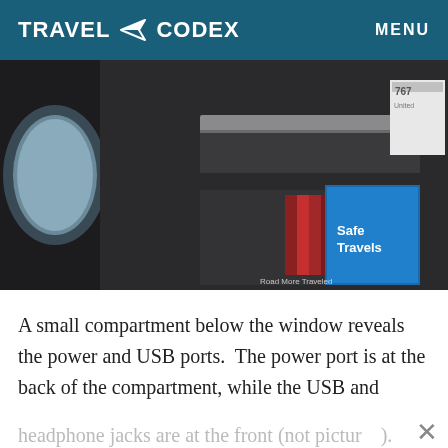TRAVEL CODEX   MENU
[Figure (photo): Airplane seat area near window showing a seat-back pocket and a blue 'Safe Travels' booklet/pamphlet, with dark gray interior panels. Watermark reads 'Road More Traveled'.]
A small compartment below the window reveals the power and USB ports.  The power port is at the back of the compartment, while the USB and headphone jacks are at the front (not pictured).